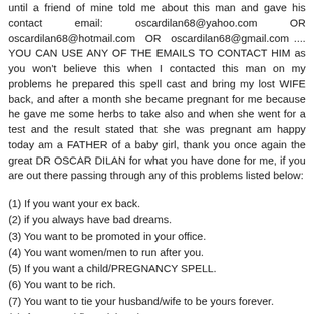until a friend of mine told me about this man and gave his contact email: oscardilan68@yahoo.com OR oscardilan68@hotmail.com OR oscardilan68@gmail.com .... YOU CAN USE ANY OF THE EMAILS TO CONTACT HIM as you won't believe this when I contacted this man on my problems he prepared this spell cast and bring my lost WIFE back, and after a month she became pregnant for me because he gave me some herbs to take also and when she went for a test and the result stated that she was pregnant am happy today am a FATHER of a baby girl, thank you once again the great DR OSCAR DILAN for what you have done for me, if you are out there passing through any of this problems listed below:
(1) If you want your ex back.
(2) if you always have bad dreams.
(3) You want to be promoted in your office.
(4) You want women/men to run after you.
(5) If you want a child/PREGNANCY SPELL.
(6) You want to be rich.
(7) You want to tie your husband/wife to be yours forever.
(8) If you need financial assistance.